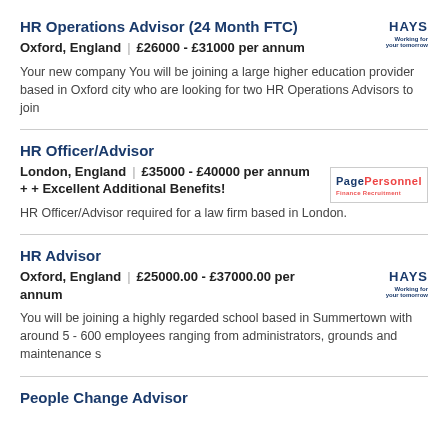HR Operations Advisor (24 Month FTC)
Oxford, England | £26000 - £31000 per annum
Your new company You will be joining a large higher education provider based in Oxford city who are looking for two HR Operations Advisors to join
HR Officer/Advisor
London, England | £35000 - £40000 per annum + + Excellent Additional Benefits!
HR Officer/Advisor required for a law firm based in London.
HR Advisor
Oxford, England | £25000.00 - £37000.00 per annum
You will be joining a highly regarded school based in Summertown with around 5 - 600 employees ranging from administrators, grounds and maintenance s
People Change Advisor